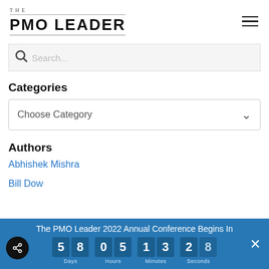[Figure (logo): The PMO Leader logo with 'THE' in small caps and 'PMO LEADER' in bold large text, with horizontal rules]
Search...
Categories
Choose Category
Authors
Abhishek Mishra
Bill Dow
The PMO Leader 2022 Annual Conference Begins In 58 Days 05 Hours 13 Minutes 28 Seconds